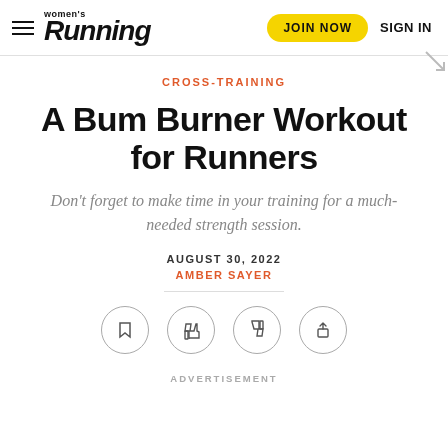Women's Running — JOIN NOW   SIGN IN
CROSS-TRAINING
A Bum Burner Workout for Runners
Don't forget to make time in your training for a much-needed strength session.
AUGUST 30, 2022
AMBER SAYER
[Figure (infographic): Row of four circular icon buttons: bookmark, thumbs up, thumbs down, share]
ADVERTISEMENT